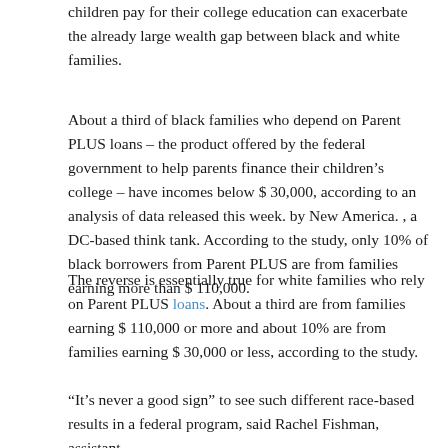children pay for their college education can exacerbate the already large wealth gap between black and white families.
About a third of black families who depend on Parent PLUS loans – the product offered by the federal government to help parents finance their children's college – have incomes below $ 30,000, according to an analysis of data released this week. by New America. , a DC-based think tank. According to the study, only 10% of black borrowers from Parent PLUS are from families earning more than $ 110,000.
The reverse is essentially true for white families who rely on Parent PLUS loans. About a third are from families earning $ 110,000 or more and about 10% are from families earning $ 30,000 or less, according to the study.
“It’s never a good sign” to see such different race-based results in a federal program, said Rachel Fishman, assistant